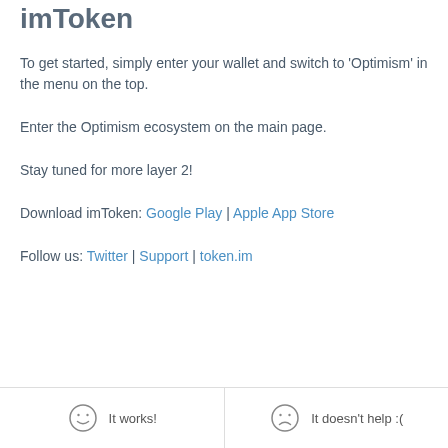imToken
To get started, simply enter your wallet and switch to 'Optimism' in the menu on the top.
Enter the Optimism ecosystem on the main page.
Stay tuned for more layer 2!
Download imToken: Google Play | Apple App Store
Follow us: Twitter | Support | token.im
It works! | It doesn't help :(